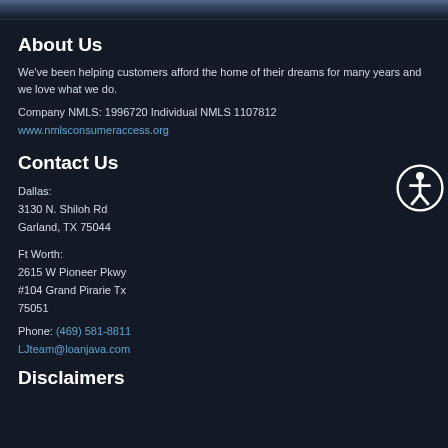[city skyline image header]
About Us
We've been helping customers afford the home of their dreams for many years and we love what we do.
Company NMLS: 1996720 Individual NMLS 1107812
www.nmlsconsumeraccess.org
Contact Us
Dallas:
3130 N. Shiloh Rd
Garland, TX 75044
Ft Worth:
2615 W Pioneer Pkwy
#104 Grand Pirarie Tx
75051
Phone: (469) 581-8811
LJteam@loanjava.com
Disclaimers